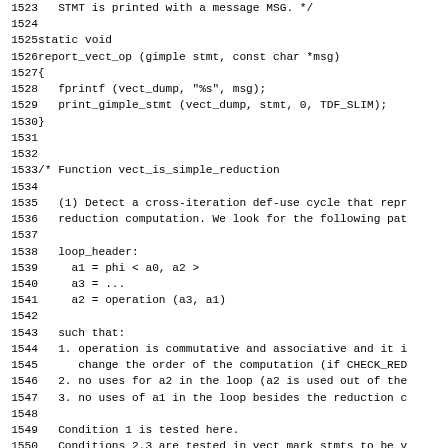Source code listing lines 1523-1554, showing C code for report_vect_op function and comment block for vect_is_simple_reduction function